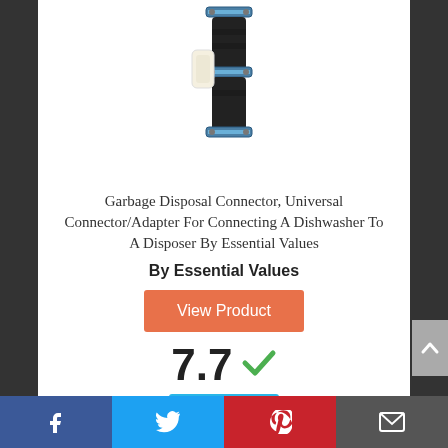[Figure (photo): Garbage disposal connector/adapter product photo - black rubber connector with metal clamps and a white plug component]
Garbage Disposal Connector, Universal Connector/Adapter For Connecting A Dishwasher To A Disposer By Essential Values
By Essential Values
View Product
7.7 ✓ Score